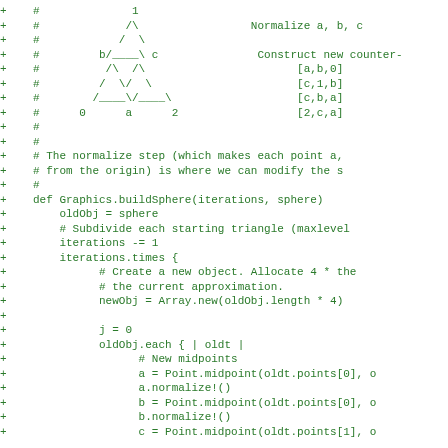+    #              1
+    #             /\
+    #            /  \
+    #         b/____\ c
+    #          /\  /\
+    #         /  \/  \
+    #        /____\/____\
+    #      0      a      2
+    #
+    #
+    # The normalize step (which makes each point a,
+    # from the origin) is where we can modify the s
+    #
+    def Graphics.buildSphere(iterations, sphere)
+        oldObj = sphere
+        # Subdivide each starting triangle (maxlevel
+        iterations -= 1
+        iterations.times {
+              # Create a new object. Allocate 4 * the
+              # the current approximation.
+              newObj = Array.new(oldObj.length * 4)
+
+              j = 0
+              oldObj.each { | oldt |
+                    # New midpoints
+                    a = Point.midpoint(oldt.points[0], o
+                    a.normalize!()
+                    b = Point.midpoint(oldt.points[0], o
+                    b.normalize!()
+                    c = Point.midpoint(oldt.points[1], o